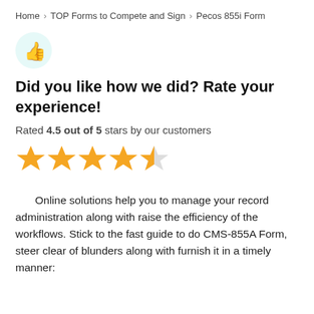Home › TOP Forms to Compete and Sign › Pecos 855i Form
[Figure (illustration): Thumbs up icon inside a light teal circle]
Did you like how we did? Rate your experience!
Rated 4.5 out of 5 stars by our customers
[Figure (infographic): 4.5 out of 5 gold stars rating — four full stars and one half star]
Online solutions help you to manage your record administration along with raise the efficiency of the workflows. Stick to the fast guide to do CMS-855A Form, steer clear of blunders along with furnish it in a timely manner: